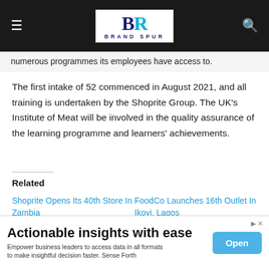Brand Spur
numerous programmes its employees have access to.
The first intake of 52 commenced in August 2021, and all training is undertaken by the Shoprite Group. The UK's Institute of Meat will be involved in the quality assurance of the learning programme and learners' achievements.
Related
Shoprite Opens Its 40th Store In Zambia
25, 2021
FoodCo Launches 16th Outlet In Ikoyi, Lagos
August 17, 2022
Actionable insights with ease
Empower business leaders to access data in all formats to make insightful decision faster. Sense Forth